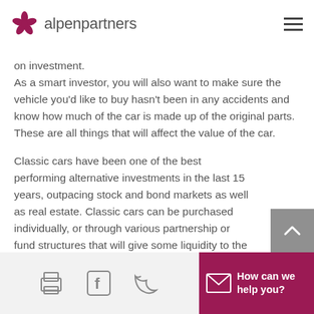alpenpartners
on investment.
As a smart investor, you will also want to make sure the vehicle you'd like to buy hasn't been in any accidents and know how much of the car is made up of the original parts. These are all things that will affect the value of the car.
Classic cars have been one of the best performing alternative investments in the last 15 years, outpacing stock and bond markets as well as real estate. Classic cars can be purchased individually, or through various partnership or fund structures that will give some liquidity to the investment.
How can we help you?